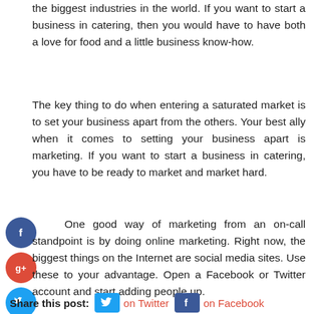the biggest industries in the world. If you want to start a business in catering, then you would have to have both a love for food and a little business know-how.

The key thing to do when entering a saturated market is to set your business apart from the others. Your best ally when it comes to setting your business apart is marketing. If you want to start a business in catering, you have to be ready to market and market hard.

One good way of marketing from an on-call standpoint is by doing online marketing. Right now, the biggest things on the Internet are social media sites. Use these to your advantage. Open a Facebook or Twitter account and start adding people up.
Share this post:  on Twitter   on Facebook